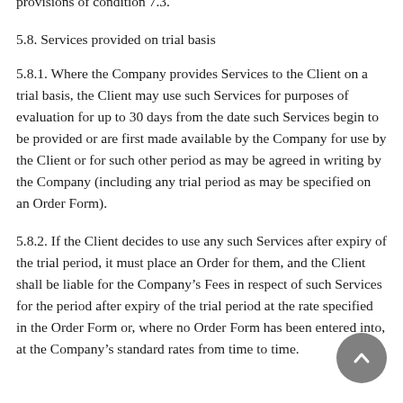provisions of condition 7.3.
5.8. Services provided on trial basis
5.8.1. Where the Company provides Services to the Client on a trial basis, the Client may use such Services for purposes of evaluation for up to 30 days from the date such Services begin to be provided or are first made available by the Company for use by the Client or for such other period as may be agreed in writing by the Company (including any trial period as may be specified on an Order Form).
5.8.2. If the Client decides to use any such Services after expiry of the trial period, it must place an Order for them, and the Client shall be liable for the Company’s Fees in respect of such Services for the period after expiry of the trial period at the rate specified in the Order Form or, where no Order Form has been entered into, at the Company’s standard rates from time to time.